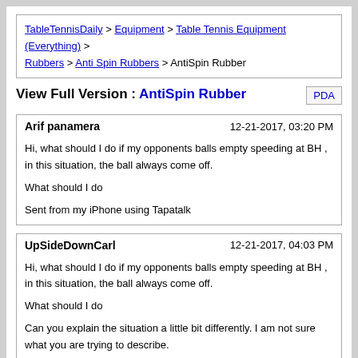TableTennisDaily > Equipment > Table Tennis Equipment (Everything) > Rubbers > Anti Spin Rubbers > AntiSpin Rubber
View Full Version : AntiSpin Rubber
Arif panamera  12-21-2017, 03:20 PM
Hi, what should I do if my opponents balls empty speeding at BH , in this situation, the ball always come off.

What should I do

Sent from my iPhone using Tapatalk
UpSideDownCarl  12-21-2017, 04:03 PM
Hi, what should I do if my opponents balls empty speeding at BH , in this situation, the ball always come off.

What should I do

Can you explain the situation a little bit differently. I am not sure what you are trying to describe.

Do you have AntiSpin? Or is it your opponent?

"opponents balls empty speeding at BH," What does this mean? Is it that the opponent sends a fast ball with no spin at your BH?

"in this situation, the balls always come off." Does this mean when you are fast with a fast ball with no spin you cannot return it on the table?